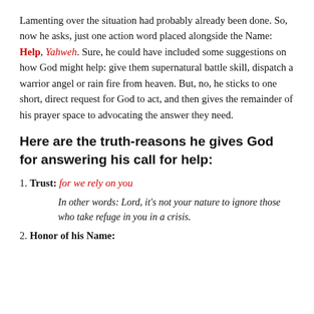Lamenting over the situation had probably already been done. So, now he asks, just one action word placed alongside the Name: Help, Yahweh. Sure, he could have included some suggestions on how God might help: give them supernatural battle skill, dispatch a warrior angel or rain fire from heaven. But, no, he sticks to one short, direct request for God to act, and then gives the remainder of his prayer space to advocating the answer they need.
Here are the truth-reasons he gives God for answering his call for help:
1. Trust: for we rely on you
In other words: Lord, it's not your nature to ignore those who take refuge in you in a crisis.
2. Honor of his Name: ...